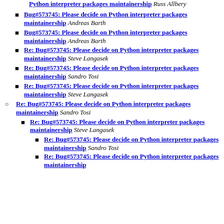Python interpreter packages maintainership Russ Allbery
Bug#573745: Please decide on Python interpreter packages maintainership Andreas Barth
Bug#573745: Please decide on Python interpreter packages maintainership Andreas Barth
Re: Bug#573745: Please decide on Python interpreter packages maintainership Steve Langasek
Re: Bug#573745: Please decide on Python interpreter packages maintainership Sandro Tosi
Re: Bug#573745: Please decide on Python interpreter packages maintainership Steve Langasek
Re: Bug#573745: Please decide on Python interpreter packages maintainership Sandro Tosi
Re: Bug#573745: Please decide on Python interpreter packages maintainership Steve Langasek
Re: Bug#573745: Please decide on Python interpreter packages maintainership Sandro Tosi
Re: Bug#573745: Please decide on Python interpreter packages maintainership